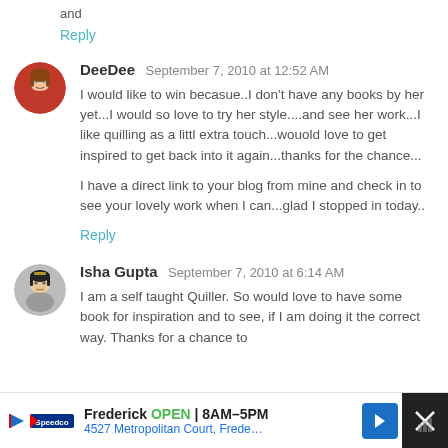and
Reply
DeeDee  September 7, 2010 at 12:52 AM
I would like to win becasue..I don't have any books by her yet...I would so love to try her style....and see her work...I like quilling as a littl extra touch...wouold love to get inspired to get back into it again...thanks for the chance...

I have a direct link to your blog from mine and check in to see your lovely work when I can...glad I stopped in today..
Reply
Isha Gupta  September 7, 2010 at 6:14 AM
I am a self taught Quiller. So would love to have some book for inspiration and to see, if I am doing it the correct way. Thanks for a chance to
[Figure (other): Ad bar at bottom: Speedco logo, Frederick OPEN 8AM-5PM, 4527 Metropolitan Court, Frede..., blue navigation arrow button, close button with X]